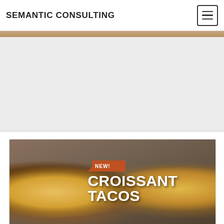SEMANTIC CONSULTING
[Figure (photo): Thin photo strip of food/bakery items at top of page below navbar]
[Figure (photo): Gray advertisement placeholder area]
[Figure (photo): Food product photo showing Taco Bell Croissant Tacos — croissant-shaped tacos filled with scrambled eggs, sausage, and cheese on a wooden surface, with text overlay reading NEW! CROISSANT TACOS]